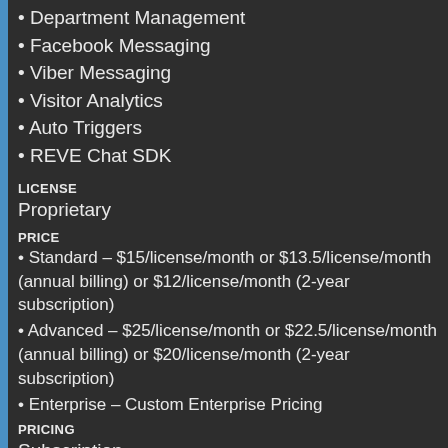• Department Management
• Facebook Messaging
• Viber Messaging
• Visitor Analytics
• Auto Triggers
• REVE Chat SDK
LICENSE
Proprietary
PRICE
• Standard – $15/license/month or $13.5/license/month (annual billing) or $12/license/month (2-year subscription)
• Advanced – $25/license/month or $22.5/license/month (annual billing) or $20/license/month (2-year subscription)
• Enterprise – Custom Enterprise Pricing
PRICING
Subscription
FREE TRIAL
Available
USERS SIZE